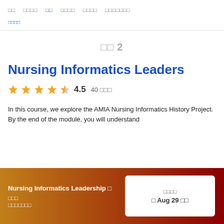□□  □□□□  □□  □□□□  □□□□  □□□□□□□
□□□□
□□ 2
Nursing Informatics Leaders
4.5  40 □□□
In this course, we explore the AMIA Nursing Informatics History Project.  By the end of the module, you will understand
Nursing Informatics Leadership □ □□□ □□□□□□□
□□□□  □ Aug 29 □□